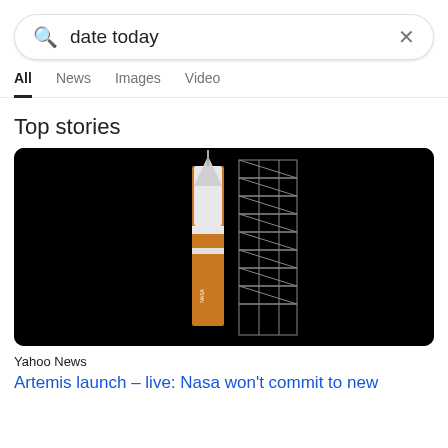[Figure (screenshot): Search bar with query 'date today' and X close button]
All
News
Images
Video
Top stories
[Figure (photo): NASA Artemis rocket on launch pad at night with metal scaffolding structure]
Yahoo News
Artemis launch – live: Nasa won't commit to new